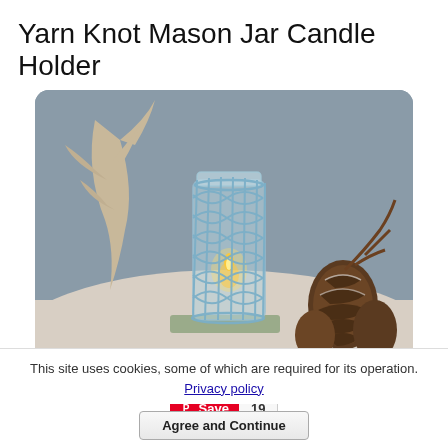Yarn Knot Mason Jar Candle Holder
[Figure (photo): A mason jar candle holder wrapped in blue knotted yarn netting, with a lit tealight inside, placed on a stone tile next to antler decorations and pine cones. Watermark: © www.crafts-for-all-seasons.com]
Save 19
This site uses cookies, some of which are required for its operation. Privacy policy
Agree and Continue